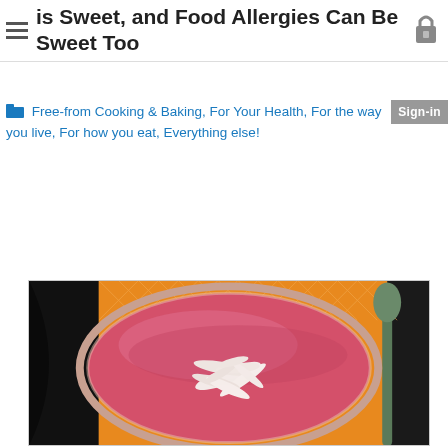is Sweet, and Food Allergies Can Be Sweet Too
Free-from Cooking & Baking, For Your Health, For the way you live, For how you eat, Everything else!
[Figure (photo): Overhead view of a pink/red berry smoothie bowl in a glass bowl, topped with shredded coconut, placed on an orange patterned cloth with a spoon visible on the right side.]